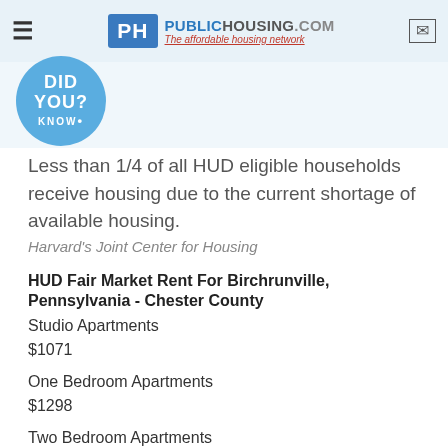PublicHousing.com — The affordable housing network
[Figure (illustration): Did You Know? speech bubble icon in blue]
Less than 1/4 of all HUD eligible households receive housing due to the current shortage of available housing.
Harvard's Joint Center for Housing
HUD Fair Market Rent For Birchrunville, Pennsylvania - Chester County
Studio Apartments
$1071
One Bedroom Apartments
$1298
Two Bedroom Apartments
$1605
Three Bedroom Apartments